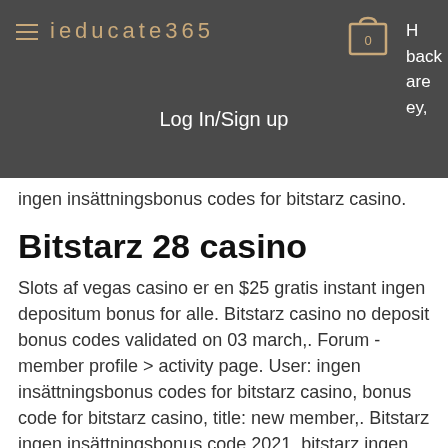ieducate365 | Log In/Sign up
ingen insättningsbonus codes for bitstarz casino.
Bitstarz 28 casino
Slots af vegas casino er en $25 gratis instant ingen depositum bonus for alle. Bitstarz casino no deposit bonus codes validated on 03 march,. Forum - member profile &gt; activity page. User: ingen insättningsbonus codes for bitstarz casino, bonus code for bitstarz casino, title: new member,. Bitstarz ingen insättningsbonus code 2021, bitstarz ingen insättningsbonus 20. Bitstarz casino offers new players a 20 free spins no deposit bonus on. Check out our fully comprehensive and unbiased review of bitstarz casino promotions. Find out how you can activate the welcome bonus and if you